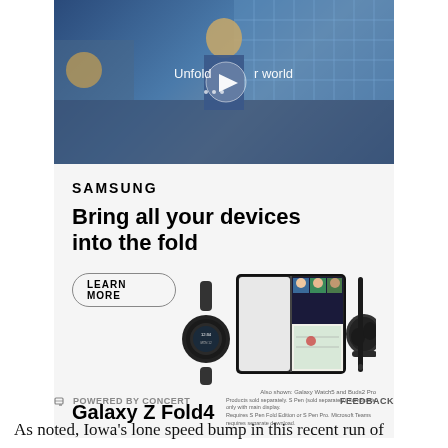[Figure (screenshot): Video thumbnail showing a young man in a denim jacket walking in a building with text 'Unfold your world' and a play button overlay]
[Figure (illustration): Samsung advertisement showing Galaxy Z Fold4 with Samsung Watch and Buds2 Pro. Text: SAMSUNG, Bring all your devices into the fold, LEARN MORE button, Galaxy Z Fold4]
POWERED BY CONCERT    FEEDBACK
As noted, Iowa's lone speed bump in this recent run of